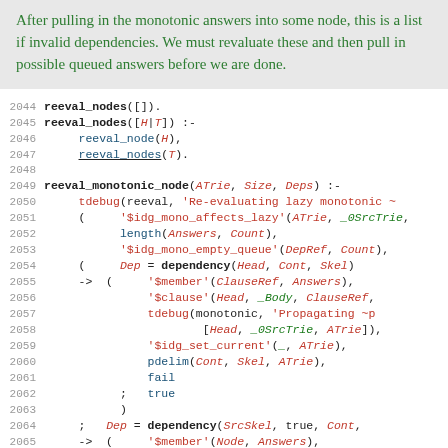After pulling in the monotonic answers into some node, this is a list if invalid dependencies. We must revaluate these and then pull in possible queued answers before we are done.
[Figure (screenshot): Source code listing lines 2044-2066 showing Prolog predicates reeval_nodes and reeval_monotonic_node with syntax highlighting in green, red, blue and bold black.]